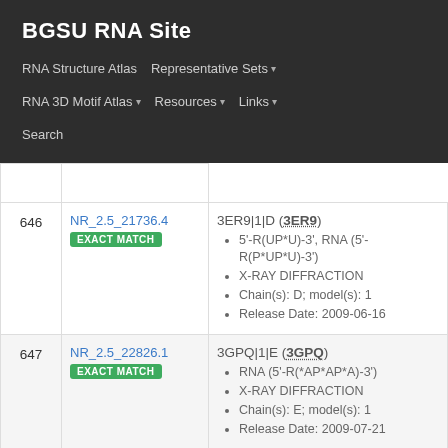BGSU RNA Site
RNA Structure Atlas | Representative Sets ▾ | RNA 3D Motif Atlas ▾ | Resources ▾ | Links ▾ | Search
| # | ID | Description |
| --- | --- | --- |
| 646 | NR_2.5_21736.4
EXACT MATCH | 3ER9|1|D (3ER9)
• 5'-R(UP*U)-3', RNA (5'-R(P*UP*U)-3')
• X-RAY DIFFRACTION
• Chain(s): D; model(s): 1
• Release Date: 2009-06-16 |
| 647 | NR_2.5_22826.1
EXACT MATCH | 3GPQ|1|E (3GPQ)
• RNA (5'-R(*AP*AP*A)-3')
• X-RAY DIFFRACTION
• Chain(s): E; model(s): 1
• Release Date: 2009-07-21 |
| 648 | NR_2.5_27378.1
EXACT MATCH | 1QLN|1|R (1QLN)
• RNA (5- R(RRR*GR*GR*G)-3) |